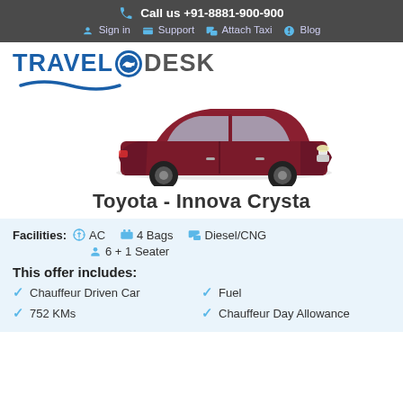Call us +91-8881-900-900 | Sign in | Support | Attach Taxi | Blog
[Figure (logo): TravelODesk logo with car icon]
[Figure (photo): Toyota Innova Crysta car image, dark red/maroon color, side view]
Toyota - Innova Crysta
Facilities: AC | 4 Bags | Diesel/CNG | 6 + 1 Seater
This offer includes:
Chauffeur Driven Car
Fuel
752 KMs
Chauffeur Day Allowance